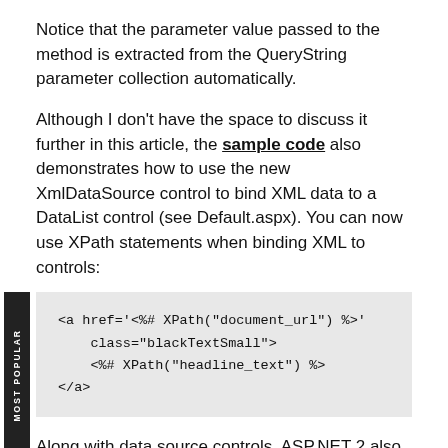Notice that the parameter value passed to the method is extracted from the QueryString parameter collection automatically.
Although I don't have the space to discuss it further in this article, the sample code also demonstrates how to use the new XmlDataSource control to bind XML data to a DataList control (see Default.aspx). You can now use XPath statements when binding XML to controls:
[Figure (screenshot): Code block showing XPath binding example with sidebar label 'MOST POPULAR': <a href='<%# XPath("document_url") %>' class="blackTextSmall"> <%# XPath("headline_text") %> </a>]
Along with data source controls, ASP.NET 2 also includes built-in support for invalidating ASP.NET